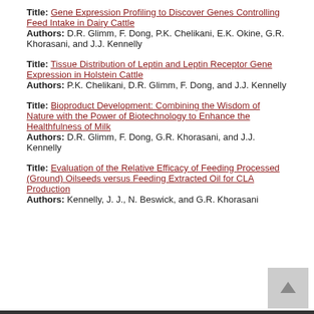Title: Gene Expression Profiling to Discover Genes Controlling Feed Intake in Dairy Cattle
Authors: D.R. Glimm, F. Dong, P.K. Chelikani, E.K. Okine, G.R. Khorasani, and J.J. Kennelly
Title: Tissue Distribution of Leptin and Leptin Receptor Gene Expression in Holstein Cattle
Authors: P.K. Chelikani, D.R. Glimm, F. Dong, and J.J. Kennelly
Title: Bioproduct Development: Combining the Wisdom of Nature with the Power of Biotechnology to Enhance the Healthfulness of Milk
Authors: D.R. Glimm, F. Dong, G.R. Khorasani, and J.J. Kennelly
Title: Evaluation of the Relative Efficacy of Feeding Processed (Ground) Oilseeds versus Feeding Extracted Oil for CLA Production
Authors: Kennelly, J. J., N. Beswick, and G.R. Khorasani